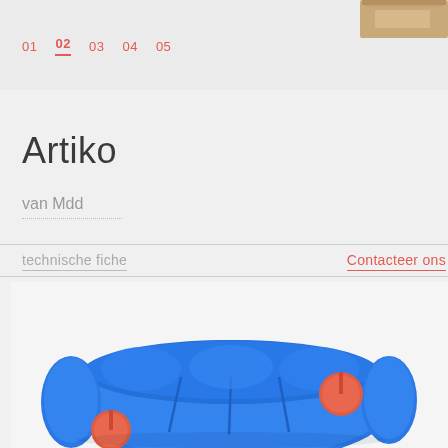[Figure (photo): Top section showing navigation numbers 01 02 03 04 05 with a wooden box/furniture visible in the upper right corner on a light gray background]
01  02  03  04  05
Artiko
van Mdd
technische fiche
Contacteer ons
[Figure (photo): Aerial view of a modular blue upholstered sofa (Artiko by Mdd) with two coral/orange round side tables on stems, photographed from above on a white background]